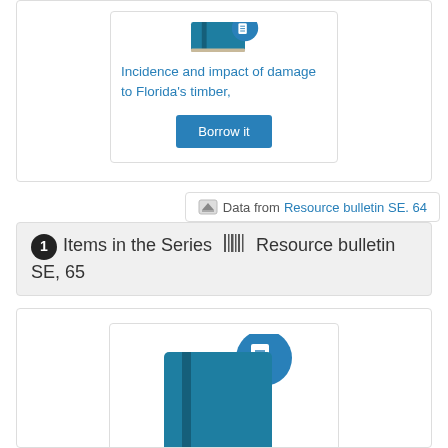[Figure (illustration): Book cover icon (teal) with a blue circular badge showing a document icon, partially cropped at top]
Incidence and impact of damage to Florida's timber,
Borrow it
Data from Resource bulletin SE. 64
1 Items in the Series ||| Resource bulletin SE, 65
[Figure (illustration): Book cover icon (teal) with a blue circular badge showing a document icon, in lower card section]